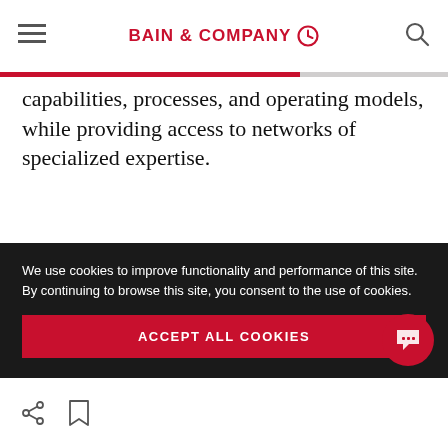BAIN & COMPANY
capabilities, processes, and operating models, while providing access to networks of specialized expertise.
Hg Capital, for example, has developed a new platform it calls the Hg Hive, a centralized repository of expertise and resources designed to
We use cookies to improve functionality and performance of this site. By continuing to browse this site, you consent to the use of cookies.
ACCEPT ALL COOKIES